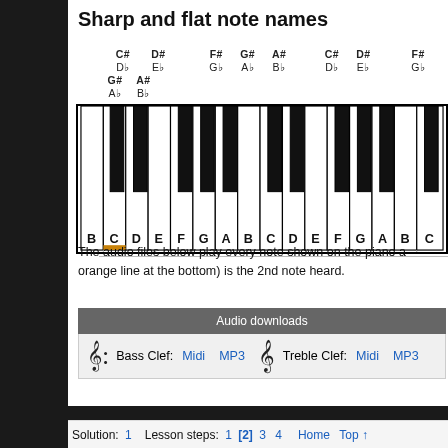Sharp and flat note names
[Figure (illustration): Piano keyboard diagram showing white and black keys labeled with note names (B C D E F G A B C D E F G A B C). Black keys show sharp/flat names: C#/Db, D#/Eb, F#/Gb, G#/Ab, A#/Bb repeated. Middle C is highlighted with an orange underline.]
The audio files below play every note shown on the piano a orange line at the bottom) is the 2nd note heard.
| Audio downloads |
| --- |
| Bass Clef: Midi MP3 | Treble Clef: Midi MP3 |
Solution: 1  Lesson steps: 1 [2] 3 4  Home Top ^